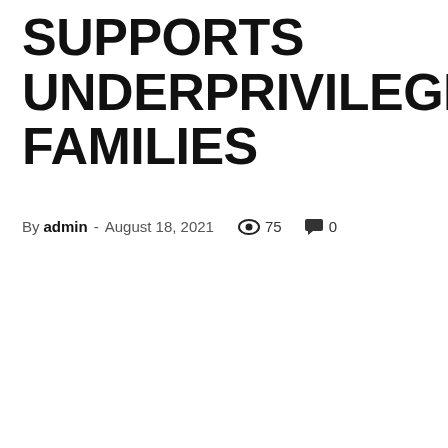SUPPORTS UNDERPRIVILEGED FAMILIES
By admin - August 18, 2021  👁 75  💬 0